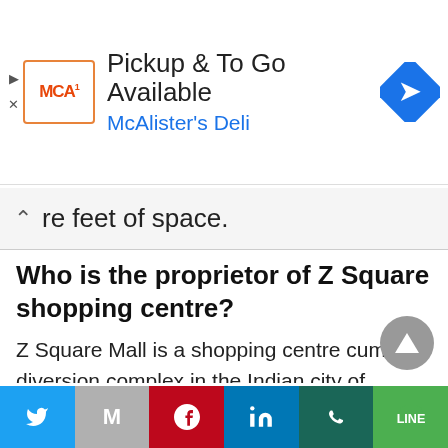[Figure (screenshot): Ad banner for McAlister's Deli: pickup and to go available]
re feet of space.
Who is the proprietor of Z Square shopping centre?
Z Square Mall is a shopping centre cum diversion complex in the Indian city of Kanpur. The shopping centre is spread on an area of five sections of land in Kanpur city with 900,000 sqft.
What amount do shopping centre
[Figure (screenshot): Social sharing bar with Twitter, Gmail, Pinterest, LinkedIn, WhatsApp, and Line buttons]